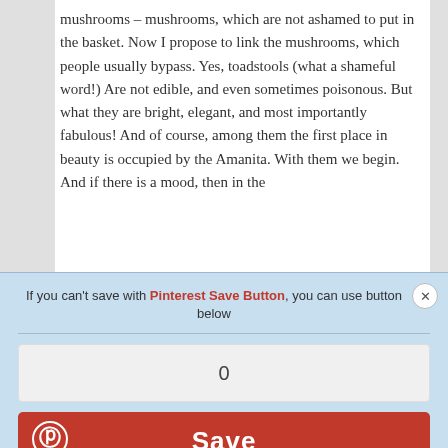mushrooms – mushrooms, which are not ashamed to put in the basket. Now I propose to link the mushrooms, which people usually bypass. Yes, toadstools (what a shameful word!) Are not edible, and even sometimes poisonous. But what they are bright, elegant, and most importantly fabulous! And of course, among them the first place in beauty is occupied by the Amanita. With them we begin. And if there is a mood, then in the...
[Figure (screenshot): Pinterest Save Button modal dialog with light blue background. Contains text: 'If you can't save with Pinterest Save Button, you can use button below'. A close X button in top right. A count display box showing '0'. A red Save button with Pinterest logo icon on the left.]
If something of the above is unfamiliar to you, then I recommend watching the training workshops, which are very numerous on the Internet.
Materials:
tin, screw cap for canning (the basis of the needle case);
green yarn;
yarn of different colors for mushrooms;
fine yarn for leaves and flowers (cotton is best - "Iris",
"chamomile", "lace", "Irene", etc.);